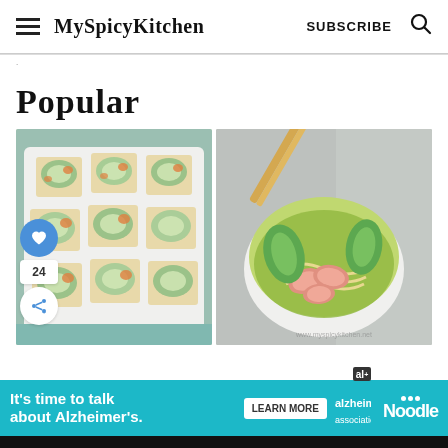MySpicyKitchen  SUBSCRIBE
Popular
[Figure (photo): Vegetable cheese toast bites on a white tray with a teal background]
[Figure (photo): Shrimp noodle soup bowl with bok choy and chopsticks on a marble surface]
It's time to talk about Alzheimer's.  LEARN MORE